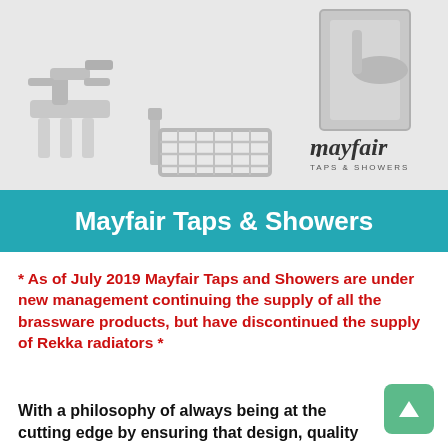[Figure (photo): Product photo showing chrome bathroom taps, soap dish/holder basket, and a shower head/bracket from Mayfair Taps & Showers, with the Mayfair logo (mayfair. TAPS & SHOWERS) in the lower right of the image.]
Mayfair Taps & Showers
* As of July 2019 Mayfair Taps and Showers are under new management continuing the supply of all the brassware products, but have discontinued the supply of Rekka radiators *
With a philosophy of always being at the cutting edge by ensuring that design, quality